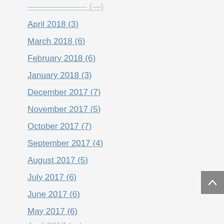April 2018 (3)
March 2018 (6)
February 2018 (6)
January 2018 (3)
December 2017 (7)
November 2017 (5)
October 2017 (7)
September 2017 (4)
August 2017 (5)
July 2017 (6)
June 2017 (6)
May 2017 (6)